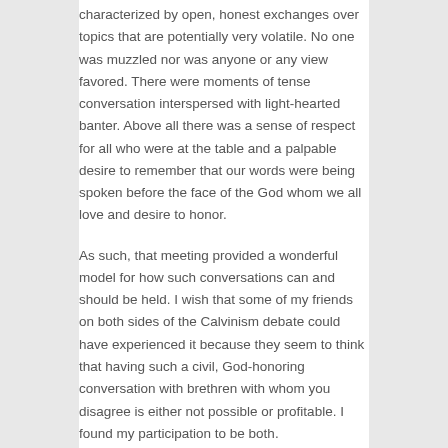characterized by open, honest exchanges over topics that are potentially very volatile. No one was muzzled nor was anyone or any view favored. There were moments of tense conversation interspersed with light-hearted banter. Above all there was a sense of respect for all who were at the table and a palpable desire to remember that our words were being spoken before the face of the God whom we all love and desire to honor.
As such, that meeting provided a wonderful model for how such conversations can and should be held. I wish that some of my friends on both sides of the Calvinism debate could have experienced it because they seem to think that having such a civil, God-honoring conversation with brethren with whom you disagree is either not possible or profitable. I found my participation to be both.